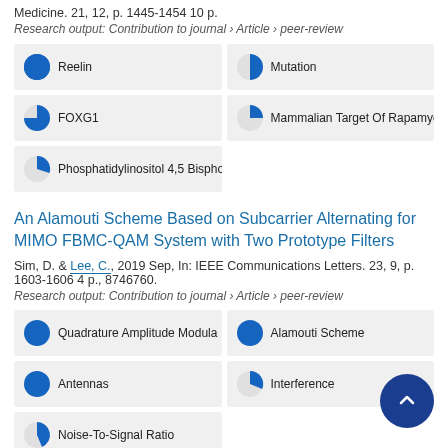Medicine. 21, 12, p. 1445-1454 10 p.
Research output: Contribution to journal › Article › peer-review
Reelin | Mutation | FOXG1 | Mammalian Target Of Rapamyc | Phosphatidylinositol 4,5 Bispho
An Alamouti Scheme Based on Subcarrier Alternating for MIMO FBMC-QAM System with Two Prototype Filters
Sim, D. & Lee, C., 2019 Sep, In: IEEE Communications Letters. 23, 9, p. 1603-1606 4 p., 8746760.
Research output: Contribution to journal › Article › peer-review
Quadrature Amplitude Modula | Alamouti Scheme | Antennas | Interference | Noise-To-Signal Ratio